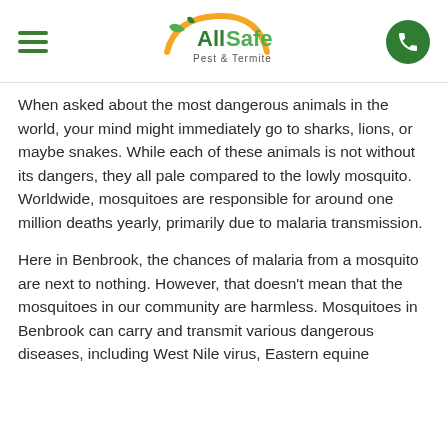AllSafe Pest & Termite
When asked about the most dangerous animals in the world, your mind might immediately go to sharks, lions, or maybe snakes. While each of these animals is not without its dangers, they all pale compared to the lowly mosquito. Worldwide, mosquitoes are responsible for around one million deaths yearly, primarily due to malaria transmission.
Here in Benbrook, the chances of malaria from a mosquito are next to nothing. However, that doesn't mean that the mosquitoes in our community are harmless. Mosquitoes in Benbrook can carry and transmit various dangerous diseases, including West Nile virus, Eastern equine encephalitis, and St. Louis encephalitis.